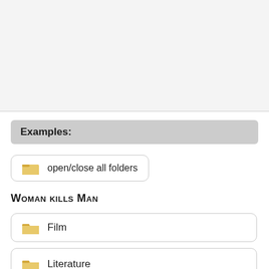[Figure (other): Gray background area at top of page, representing a UI screenshot or blank content area]
Examples:
open/close all folders
Woman kills Man
Film
Literature